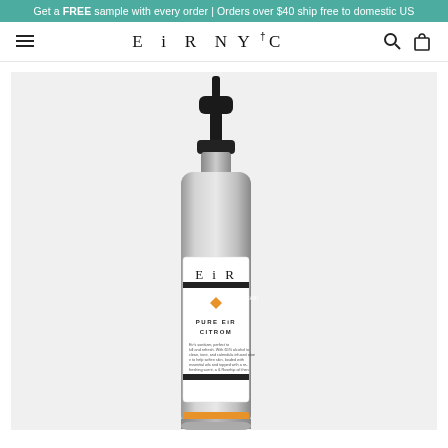Get a FREE sample with every order | Orders over $40 ship free to domestic US
E i R NY+C
[Figure (photo): EiR NYC Pure Eir Citrom product photo: silver aluminum pump bottle with black pump top, white label showing EiR NYC branding with orange accent diamond, on a light gray background]